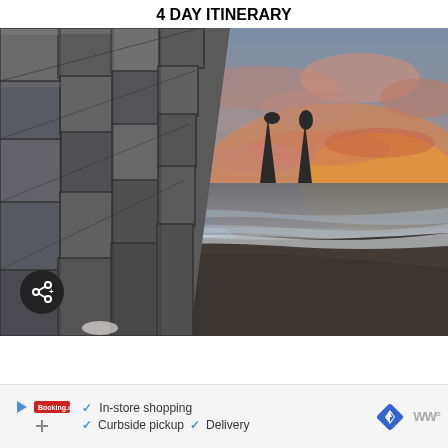4 DAY ITINERARY
[Figure (photo): Iceland black sand beach at sunset with basalt rock columns on the left foreground and two sea stacks silhouetted against a vivid orange and pink sky in the background. Waves wash onto the dark beach.]
In-store shopping  Curbside pickup  Delivery